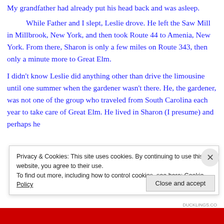My grandfather had already put his head back and was asleep.
While Father and I slept, Leslie drove. He left the Saw Mill in Millbrook, New York, and then took Route 44 to Amenia, New York. From there, Sharon is only a few miles on Route 343, then only a minute more to Great Elm.
I didn't know Leslie did anything other than drive the limousine until one summer when the gardener wasn't there. He, the gardener, was not one of the group who traveled from South Carolina each year to take care of Great Elm. He lived in Sharon (I presume) and perhaps he
Privacy & Cookies: This site uses cookies. By continuing to use this website, you agree to their use.
To find out more, including how to control cookies, see here: Cookie Policy
Close and accept
DUCKLINGS.CO